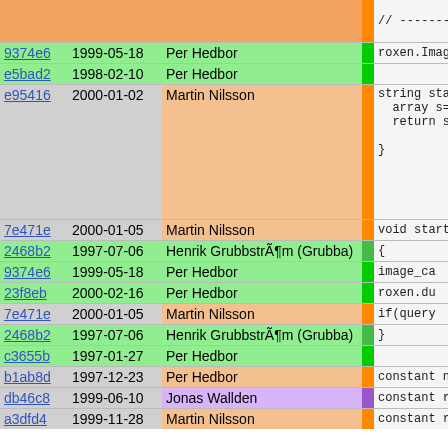| hash | date | author | bar | code |
| --- | --- | --- | --- | --- |
|  |  |  |  | // -------- |
| 9374e6 | 1999-05-18 | Per Hedbor |  | roxen.Imag |
| e5bad2 | 1998-02-10 | Per Hedbor |  |  |
| e95416 | 2000-01-02 | Martin Nilsson |  | string sta
  array s=
  return s

} |
| 7e471e | 2000-01-05 | Martin Nilsson |  | void start |
| 2468b2 | 1997-07-06 | Henrik GrubbstrÃ¶m (Grubba) |  | { |
| 9374e6 | 1999-05-18 | Per Hedbor |  | image_ca |
| 23f8eb | 2000-02-16 | Per Hedbor |  | roxen.du |
| 7e471e | 2000-01-05 | Martin Nilsson |  | if(query |
| 2468b2 | 1997-07-06 | Henrik GrubbstrÃ¶m (Grubba) |  | } |
| c3655b | 1997-01-27 | Per Hedbor |  |  |
| b1ab8d | 1997-12-23 | Per Hedbor |  | constant n |
| db46c8 | 1999-06-10 | Jonas Wallden |  | constant r |
| a3dfd4 | 1999-11-28 | Martin Nilsson |  | constant r |